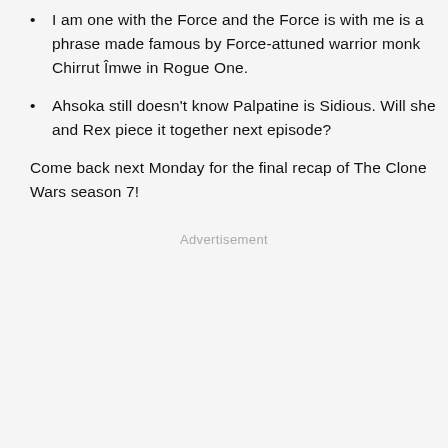I am one with the Force and the Force is with me is a phrase made famous by Force-attuned warrior monk Chirrut Îmwe in Rogue One.
Ahsoka still doesn't know Palpatine is Sidious. Will she and Rex piece it together next episode?
Come back next Monday for the final recap of The Clone Wars season 7!
Advertisement